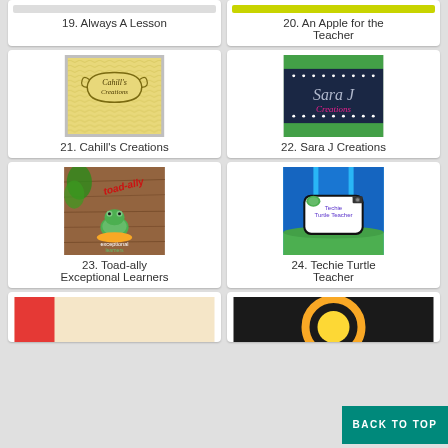[Figure (other): Partial card top - Always A Lesson blog thumbnail]
19. Always A Lesson
[Figure (other): Partial card top - An Apple for the Teacher blog thumbnail]
20. An Apple for the Teacher
[Figure (logo): Cahill's Creations logo - yellow chevron background with decorative label]
21. Cahill's Creations
[Figure (logo): Sara J Creations logo - dark navy with green stripes and pink script]
22. Sara J Creations
[Figure (logo): Toad-ally Exceptional Learners logo - frog on wood background]
23. Toad-ally Exceptional Learners
[Figure (logo): Techie Turtle Teacher logo - cartoon turtle with camera on colorful background]
24. Techie Turtle Teacher
[Figure (other): Partial card bottom - thumbnail partially visible]
[Figure (other): Partial card bottom - sun/circular logo thumbnail partially visible]